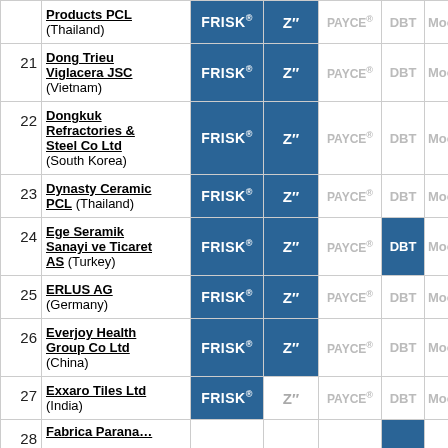| # | Company | FRISK® | Z" | PAYCE® | DBT | Moody's | Fitch |
| --- | --- | --- | --- | --- | --- | --- | --- |
|  | Products PCL (Thailand) | FRISK® | Z" | PAYCE® | DBT | Moody's | Fit… |
| 21 | Dong Trieu Viglacera JSC (Vietnam) | FRISK® | Z" | PAYCE® | DBT | Moody's | Fit… |
| 22 | Dongkuk Refractories & Steel Co Ltd (South Korea) | FRISK® | Z" | PAYCE® | DBT | Moody's | Fit… |
| 23 | Dynasty Ceramic PCL (Thailand) | FRISK® | Z" | PAYCE® | DBT | Moody's | Fit… |
| 24 | Ege Seramik Sanayi ve Ticaret AS (Turkey) | FRISK® | Z" | PAYCE® | DBT | Moody's | Fit… |
| 25 | ERLUS AG (Germany) | FRISK® | Z" | PAYCE® | DBT | Moody's | Fit… |
| 26 | Everjoy Health Group Co Ltd (China) | FRISK® | Z" | PAYCE® | DBT | Moody's | Fit… |
| 27 | Exxaro Tiles Ltd (India) | FRISK® | Z" | PAYCE® | DBT | Moody's | Fit… |
| 28 | Fabrica Parana… |  |  |  |  |  |  |